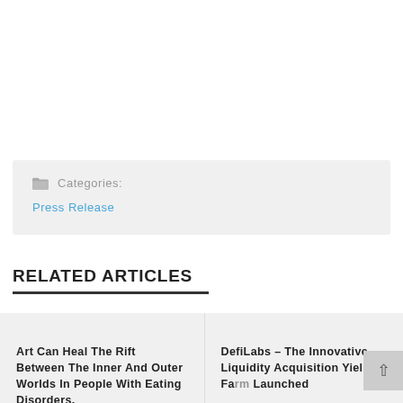Categories: Press Release
RELATED ARTICLES
Art Can Heal The Rift Between The Inner And Outer Worlds In People With Eating Disorders,
DefiLabs – The Innovative Liquidity Acquisition Yield Farm Launched